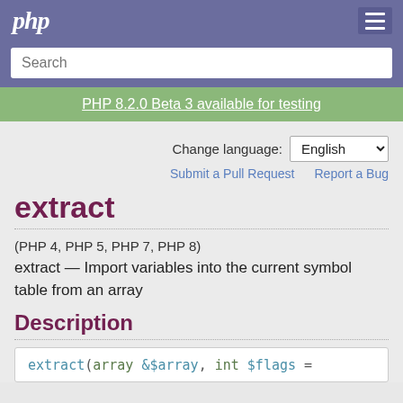php
Search
PHP 8.2.0 Beta 3 available for testing
Change language: English
Submit a Pull Request   Report a Bug
extract
(PHP 4, PHP 5, PHP 7, PHP 8)
extract — Import variables into the current symbol table from an array
Description
extract(array &$array, int $flags =